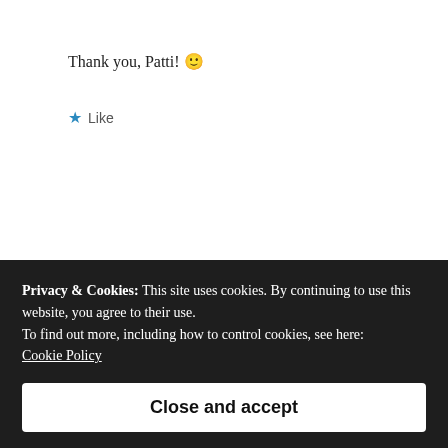Thank you, Patti! 🙂
★ Like
Reply
Mags Young
July 25, 2012 at 3:04 am
Privacy & Cookies: This site uses cookies. By continuing to use this website, you agree to their use.
To find out more, including how to control cookies, see here:
Cookie Policy
Close and accept